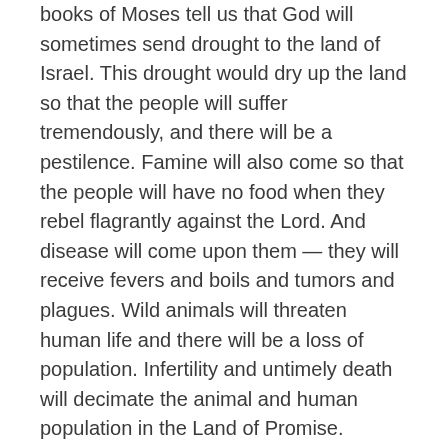books of Moses tell us that God will sometimes send drought to the land of Israel. This drought would dry up the land so that the people will suffer tremendously, and there will be a pestilence. Famine will also come so that the people will have no food when they rebel flagrantly against the Lord. And disease will come upon them — they will receive fevers and boils and tumors and plagues. Wild animals will threaten human life and there will be a loss of population. Infertility and untimely death will decimate the animal and human population in the Land of Promise.
The prophets mentioned these kinds of covenant judgments time and again. They often warned that God was going to bring some natural disaster to disrupt life in the Promised Land. For example, listen